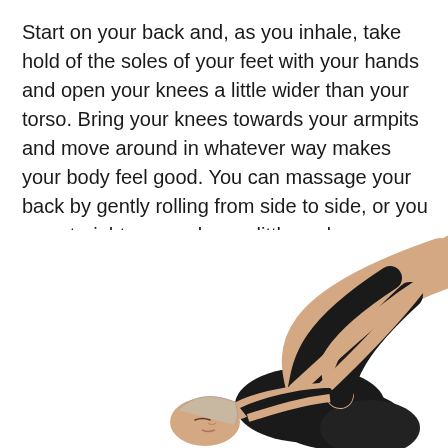Start on your back and, as you inhale, take hold of the soles of your feet with your hands and open your knees a little wider than your torso. Bring your knees towards your armpits and move around in whatever way makes your body feel good. You can massage your back by gently rolling from side to side, or you can straighten your legs a little and move them up and down.
[Figure (photo): A woman in black workout clothes lying on her back, holding the soles of her feet with her hands, knees bent and spread wide, legs raised toward the ceiling — demonstrating a yoga/stretching pose (Happy Baby or similar back-release pose).]